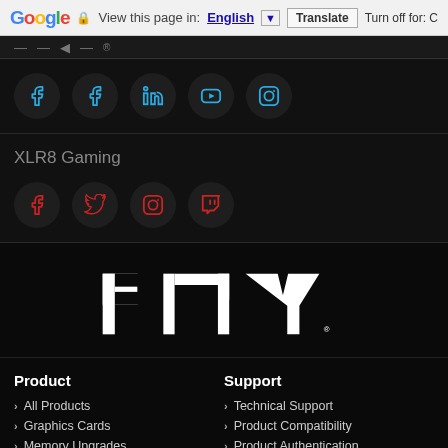Google | View this page in: English | Translate | Turn off for: C
[Figure (screenshot): Social media icons row for PNY: Facebook, Facebook, LinkedIn, YouTube, Instagram on dark background]
XLR8 Gaming
[Figure (screenshot): Social media icons row for XLR8 Gaming: Facebook, Twitter, Instagram, Twitch on dark background (red icons)]
[Figure (logo): PNY logo in white on black background]
Product
> All Products
> Graphics Cards
> Memory Upgrades
> Solid State Drives
> Flash Memory Cards
> USB Flash Drives
Support
> Technical Support
> Product Compatibility
> Product Authentication
> FAQs
> Contact Us